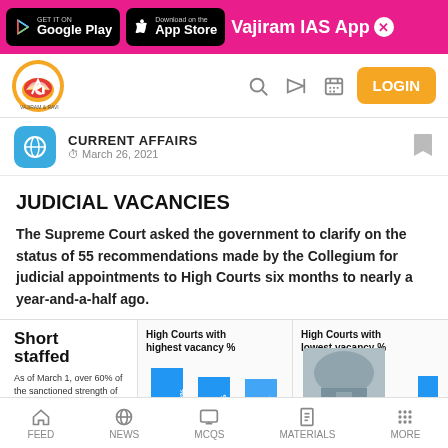GET IT ON Google Play | Download on the App Store | Vajiram IAS App
[Figure (screenshot): Navigation bar with Vajiram & Ravi logo, search, megaphone, calendar icons and LOGIN button]
CURRENT AFFAIRS
© March 26, 2021
JUDICIAL VACANCIES
The Supreme Court asked the government to clarify on the status of 55 recommendations made by the Collegium for judicial appointments to High Courts six months to nearly a year-and-a-half ago.
[Figure (infographic): Short staffed infographic: As of March 1, over 60% of the sanctioned strength of judges. High Courts with highest vacancy %: 60.4%, 55.6%, 54.0%. High Courts with lowest vacancy % showing bars with 6.7% visible.]
FEED | NEWS | MCQS | MATERIALS | MORE